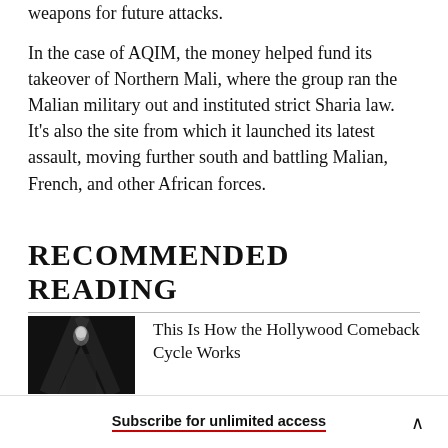weapons for future attacks.
In the case of AQIM, the money helped fund its takeover of Northern Mali, where the group ran the Malian military out and instituted strict Sharia law. It's also the site from which it launched its latest assault, moving further south and battling Malian, French, and other African forces.
RECOMMENDED READING
[Figure (photo): Black and white photo of a performer on stage with dramatic lighting]
This Is How the Hollywood Comeback Cycle Works
Subscribe for unlimited access